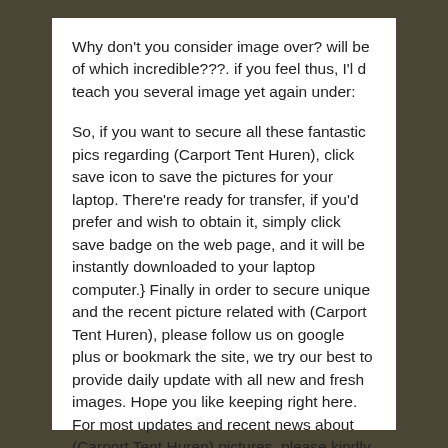Why don't you consider image over? will be of which incredible???. if you feel thus, I'l d teach you several image yet again under:
So, if you want to secure all these fantastic pics regarding (Carport Tent Huren), click save icon to save the pictures for your laptop. There're ready for transfer, if you'd prefer and wish to obtain it, simply click save badge on the web page, and it will be instantly downloaded to your laptop computer.} Finally in order to secure unique and the recent picture related with (Carport Tent Huren), please follow us on google plus or bookmark the site, we try our best to provide daily update with all new and fresh images. Hope you like keeping right here. For most updates and recent news about (Carport Tent Huren) pictures, please kindly follow us on tweets, path, Instagram and google plus, or you mark this page on bookmark section, We try to present you update periodically with fresh and new shots, love your exploring, and find the perfect for you.